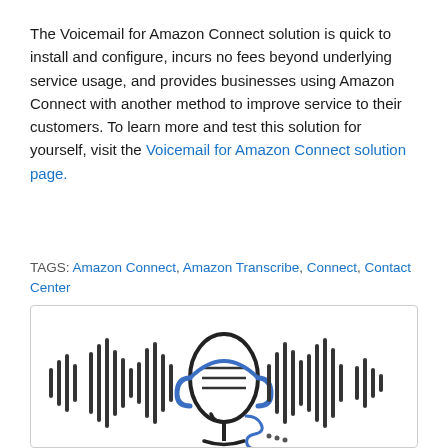The Voicemail for Amazon Connect solution is quick to install and configure, incurs no fees beyond underlying service usage, and provides businesses using Amazon Connect with another method to improve service to their customers. To learn more and test this solution for yourself, visit the Voicemail for Amazon Connect solution page.
TAGS: Amazon Connect, Amazon Transcribe, Connect, Contact Center
[Figure (illustration): An illustration of a microphone/headset icon with sound wave bars radiating outward on both sides, drawn in a dark outline style with blue accent colors for the headphone cups and a coiled cable at the bottom right.]